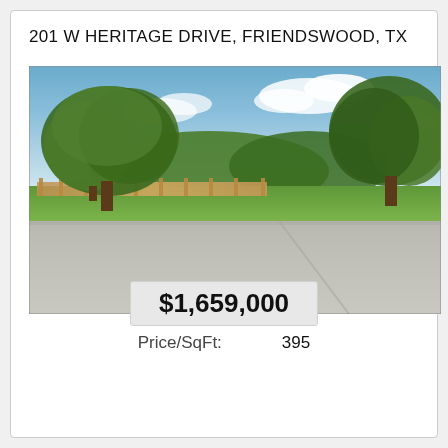201 W HERITAGE DRIVE, FRIENDSWOOD, TX
[Figure (photo): Street-level photograph of a vacant lot at 201 W Heritage Drive, Friendswood, TX. Large mature oak trees line the property. A wooden fence is visible behind the trees. Green grass in the foreground and a wide concrete road in the lower portion of the image. Blue sky with white clouds in the background.]
$1,659,000
Price/SqFt: 395